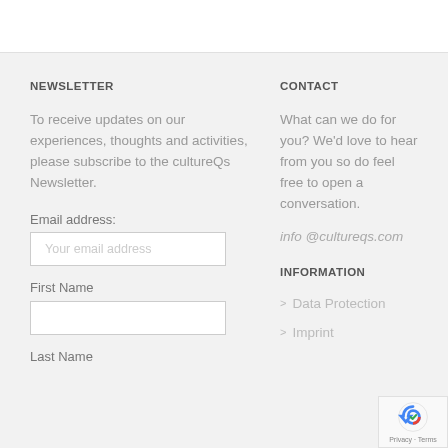NEWSLETTER
To receive updates on our experiences, thoughts and activities, please subscribe to the cultureQs Newsletter.
Email address:
Your email address
First Name
Last Name
CONTACT
What can we do for you? We'd love to hear from you so do feel free to open a conversation.
info@cultureqs.com
INFORMATION
> Data Protection
> Imprint
[Figure (logo): reCAPTCHA badge with Google logo, Privacy and Terms text]